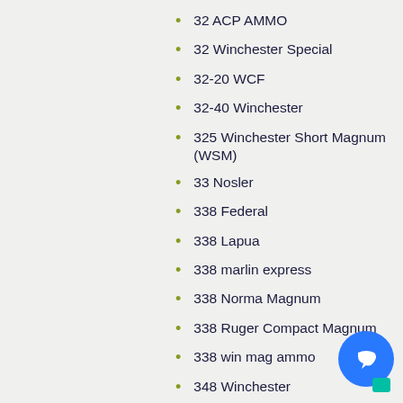32 ACP AMMO
32 Winchester Special
32-20 WCF
32-40 Winchester
325 Winchester Short Magnum (WSM)
33 Nosler
338 Federal
338 Lapua
338 marlin express
338 Norma Magnum
338 Ruger Compact Magnum
338 win mag ammo
348 Winchester
35 remington
35 whelen
350 Legend ammo